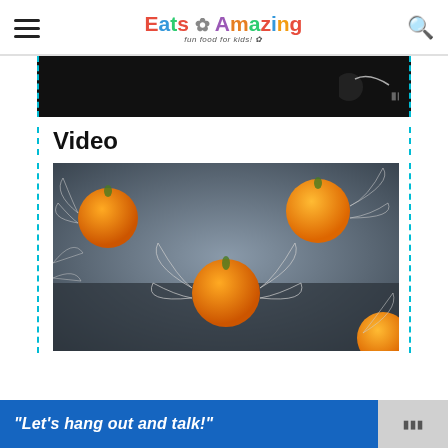Eats Amazing - Fun food for kids!
[Figure (other): Dark advertisement banner with small logo/icon on right side]
Video
[Figure (photo): Orange clementines/tangerines with white illustrated wings attached, styled as golden snitches from Harry Potter, arranged on a dark surface]
[Figure (other): Blue advertisement banner with white italic text: "Let's hang out and talk!" and a grey box with logo on the right]